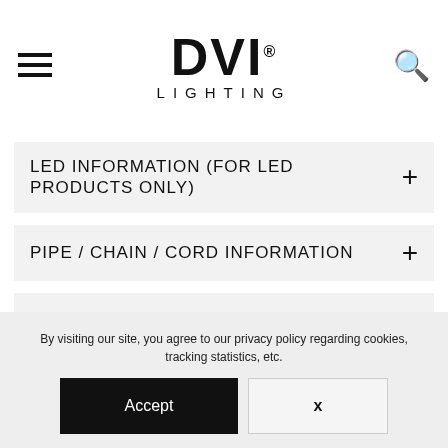DVI LIGHTING
LED INFORMATION (FOR LED PRODUCTS ONLY)
PIPE / CHAIN / CORD INFORMATION
ADDITIONAL INFORMATION
By visiting our site, you agree to our privacy policy regarding cookies, tracking statistics, etc.
Accept
X